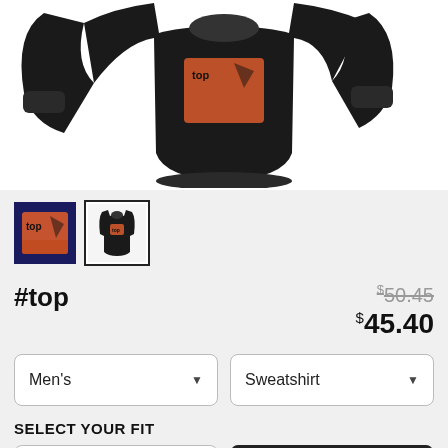[Figure (photo): Black crewneck sweatshirt with orange graphic on the back, shown front and back view on white background]
[Figure (photo): Small thumbnail: orange/red graphic design on dark blue background (design close-up)]
[Figure (photo): Small thumbnail: black sweatshirt with orange graphic, selected/active thumbnail with black border]
#top
$50.45 (strikethrough original price), $45.40 (sale price)
Men's (dropdown), Sweatshirt (dropdown)
SELECT YOUR FIT
Fit button options row